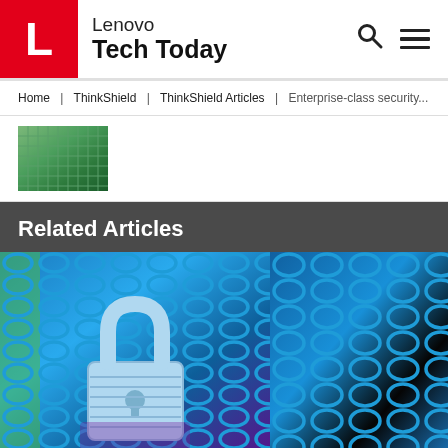L | Lenovo Tech Today
Home | ThinkShield | ThinkShield Articles | Enterprise-class security...
[Figure (photo): Partial view of a green building shot from below at an angle, showing glass and steel facade]
Related Articles
[Figure (photo): Blue-toned image of a padlock on a metal diamond mesh gate, split into two panels]